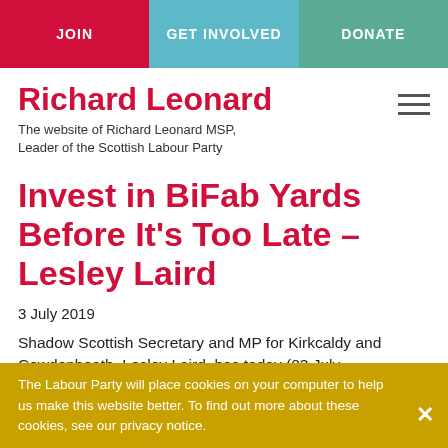JOIN | GET INVOLVED | DONATE
Richard Leonard
The website of Richard Leonard MSP, Leader of the Scottish Labour Party
Invest in BiFab Yards Before It's Too Late – Lesley Laird
3 July 2019
Shadow Scottish Secretary and MP for Kirkcaldy and Cowdenbeath, Lesley Laird, has today (03 July
The Labour Party will place cookies on your computer to help us make this website better. To find out more about these cookies, see our privacy notice.